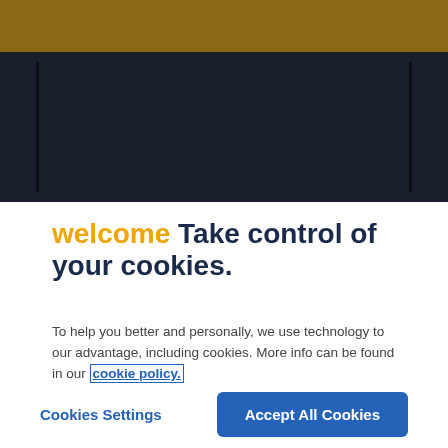[Figure (screenshot): Gold/amber colored header bar at the top of the page]
[Figure (screenshot): Dark navy/black background section below the gold bar, representing a website header area]
welcome Take control of your cookies.
To help you better and personally, we use technology to our advantage, including cookies. More info can be found in our cookie policy.
Cookies Settings
Accept All Cookies